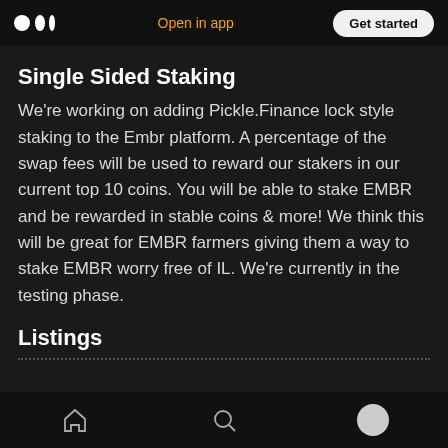Open in app | Get started
Single Sided Staking
We're working on adding Pickle.Finance lock style staking to the Embr platform. A percentage of the swap fees will be used to reward our stakers in our current top 10 coins. You will be able to stake EMBR and be rewarded in stable coins & more! We think this will be great for EMBR farmers giving them a way to stake EMBR worry free of IL. We're currently in the testing phase.
Listings